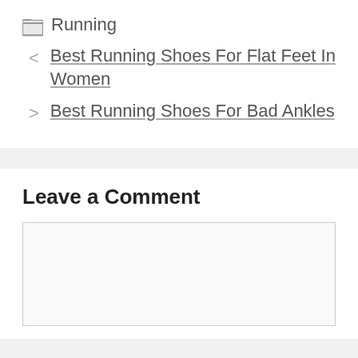🗂 Running
< Best Running Shoes For Flat Feet In Women
> Best Running Shoes For Bad Ankles
Leave a Comment